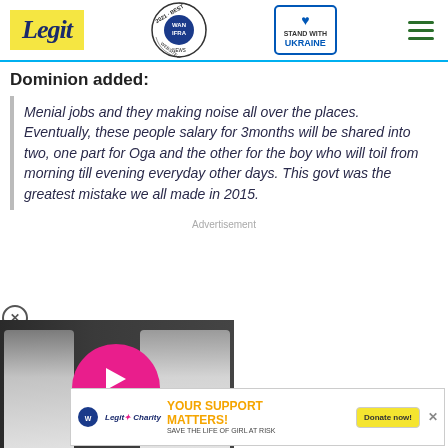Legit | WAN IFRA 2021 Best News Website in Africa | Stand with Ukraine
Dominion added:
Menial jobs and they making noise all over the places. Eventually, these people salary for 3months will be shared into two, one part for Oga and the other for the boy who will toil from morning till evening everyday other days. This govt was the greatest mistake we all made in 2015.
Advertisement
[Figure (screenshot): Video advertisement showing two people in white clothing with a pink circular play button overlay and text 'COSMIC INTERVENTION']
[Figure (screenshot): Legit Charity banner: YOUR SUPPORT MATTERS! SAVE THE LIFE OF GIRL AT RISK with Donate now! button]